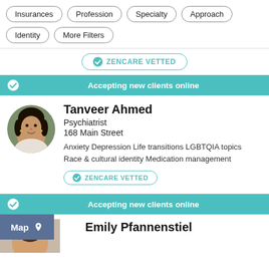Insurances
Profession
Specialty
Approach
Identity
More Filters
ZENCARE VETTED
Accepting new clients online
Tanveer Ahmed
Psychiatrist
168 Main Street
Anxiety  Depression  Life transitions  LGBTQIA topics  Race & cultural identity  Medication management
ZENCARE VETTED
Accepting new clients online
Map
Emily Pfannenstiel